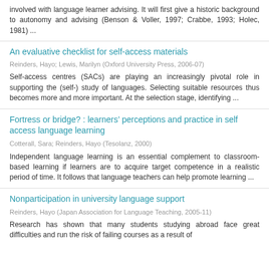involved with language learner advising. It will first give a historic background to autonomy and advising (Benson & Voller, 1997; Crabbe, 1993; Holec, 1981) ...
An evaluative checklist for self-access materials
Reinders, Hayo; Lewis, Marilyn (Oxford University Press, 2006-07)
Self-access centres (SACs) are playing an increasingly pivotal role in supporting the (self-) study of languages. Selecting suitable resources thus becomes more and more important. At the selection stage, identifying ...
Fortress or bridge? : learners’ perceptions and practice in self access language learning
Cotterall, Sara; Reinders, Hayo (Tesolanz, 2000)
Independent language learning is an essential complement to classroom-based learning if learners are to acquire target competence in a realistic period of time. It follows that language teachers can help promote learning ...
Nonparticipation in university language support
Reinders, Hayo (Japan Association for Language Teaching, 2005-11)
Research has shown that many students studying abroad face great difficulties and run the risk of failing courses as a result of